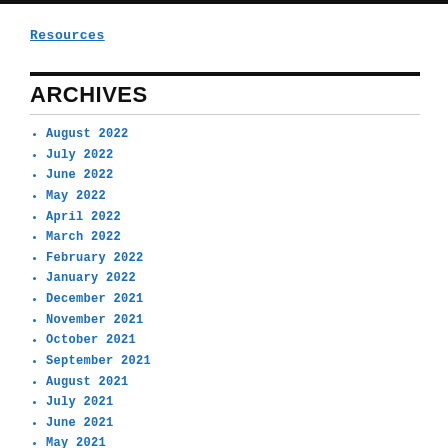Resources
ARCHIVES
August 2022
July 2022
June 2022
May 2022
April 2022
March 2022
February 2022
January 2022
December 2021
November 2021
October 2021
September 2021
August 2021
July 2021
June 2021
May 2021
April 2021
March 2021